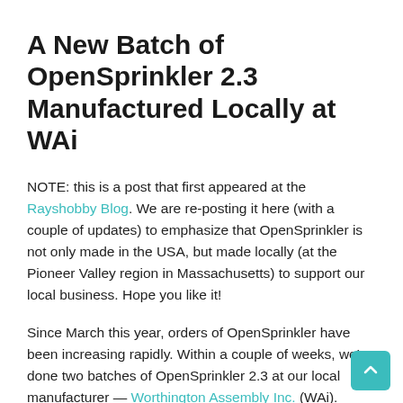A New Batch of OpenSprinkler 2.3 Manufactured Locally at WAi
NOTE: this is a post that first appeared at the Rayshobby Blog. We are re-posting it here (with a couple of updates) to emphasize that OpenSprinkler is not only made in the USA, but made locally (at the Pioneer Valley region in Massachusetts) to support our local business. Hope you like it!
Since March this year, orders of OpenSprinkler have been increasing rapidly. Within a couple of weeks, we've done two batches of OpenSprinkler 2.3 at our local manufacturer — Worthington Assembly Inc. (WAi). Previously I have blogged about OSPi manufactured at WAi, and I've shown videos of their SMT surface mount manufacturing pipeline, including pick and place machine and reflow oven. This time, I was